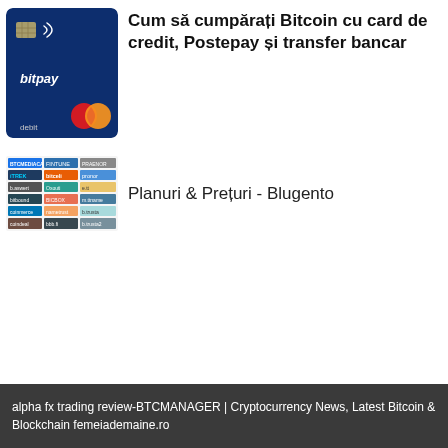[Figure (illustration): Bitpay debit Mastercard credit card in dark blue with chip, NFC symbol, bitpay logo, and Mastercard logo]
Cum să cumpărați Bitcoin cu card de credit, Postepay și transfer bancar
[Figure (illustration): Grid of payment/platform partner logos including BTCMEDIACARDS, FINTUNE, ITREX, bitbeli, pranor, and many others]
Planuri & Prețuri - Blugento
alpha fx trading review-BTCMANAGER | Cryptocurrency News, Latest Bitcoin & Blockchain femeiademaine.ro